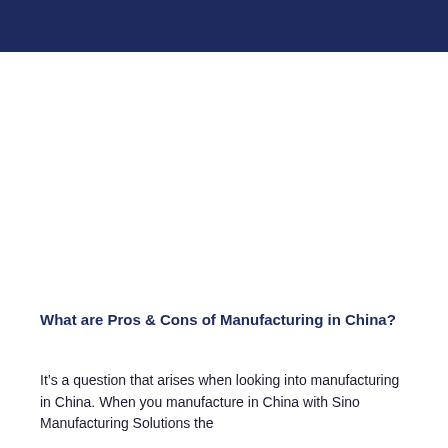What are Pros & Cons of Manufacturing in China?
It’s a question that arises when looking into manufacturing in China. When you manufacture in China with Sino Manufacturing Solutions the